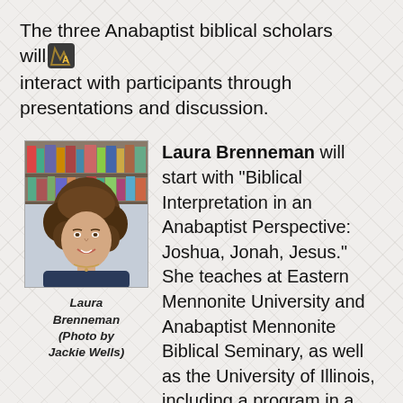The three Anabaptist biblical scholars will interact with participants through presentations and discussion.
[Figure (photo): Headshot photo of Laura Brenneman smiling, with bookshelves in the background, wearing a dark top and necklace.]
Laura Brenneman (Photo by Jackie Wells)
Laura Brenneman will start with “Biblical Interpretation in an Anabaptist Perspective: Joshua, Jonah, Jesus.” She teaches at Eastern Mennonite University and Anabaptist Mennonite Biblical Seminary, as well as the University of Illinois, including a program in a men’s prison. Brenneman